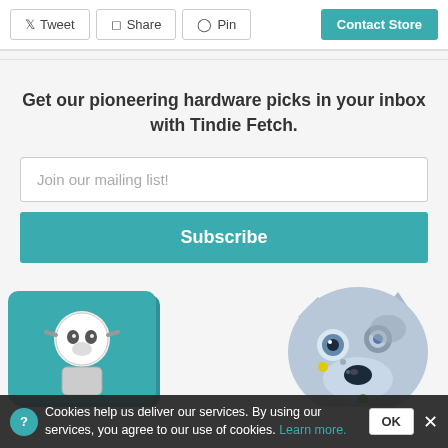Tweet | Share | Pin | Contact Store
Get our pioneering hardware picks in your inbox with Tindie Fetch.
Join our mailing list!
Subscribe
[Figure (illustration): Two cartoon robot dog illustrations - one on a teal card on the left, one larger robot dog head on the right]
Cookies help us deliver our services. By using our services, you agree to our use of cookies. Learn more. OK